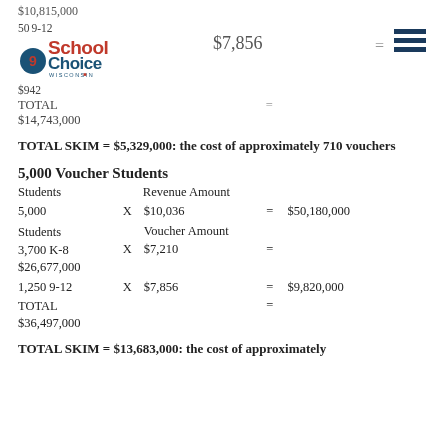$10,815,000
50 9-12    $7,856    =
[Figure (logo): School Choice Wisconsin logo]
TOTAL
$14,743,000
TOTAL SKIM = $5,329,000: the cost of approximately 710 vouchers
5,000 Voucher Students
| Students | Revenue Amount |
| --- | --- |
| 5,000 | X | $10,036 | = $50,180,000 |
| Students | Voucher Amount |  |  |
| 3,700 K-8 | X | $7,210 | =
$26,677,000 |
| 1,250 9-12 | X | $7,856 | = $9,820,000 |
| TOTAL |  |  | =
$36,497,000 |
TOTAL SKIM = $13,683,000: the cost of approximately